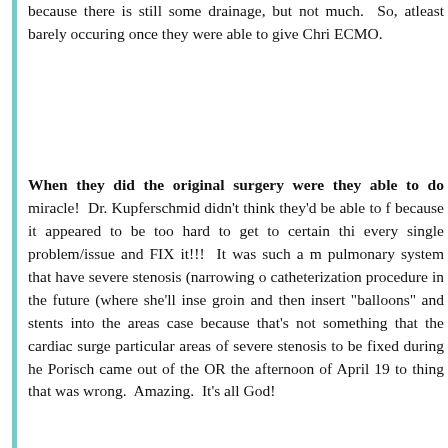because there is still some drainage, but not much. So, atleast barely occuring once they were able to give Chri ECMO.
When they did the original surgery were they able to do miracle! Dr. Kupferschmid didn't think they'd be able to f because it appeared to be too hard to get to certain thi every single problem/issue and FIX it!!! It was such a m pulmonary system that have severe stenosis (narrowing o catheterization procedure in the future (where she'll inse groin and then insert "balloons" and stents into the areas case because that's not something that the cardiac surge particular areas of severe stenosis to be fixed during he Porisch came out of the OR the afternoon of April 19 to thing that was wrong. Amazing. It's all God!